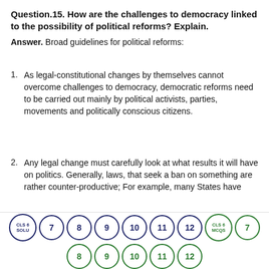Question.15. How are the challenges to democracy linked to the possibility of political reforms? Explain.
Answer. Broad guidelines for political reforms:
As legal-constitutional changes by themselves cannot overcome challenges to democracy, democratic reforms need to be carried out mainly by political activists, parties, movements and politically conscious citizens.
Any legal change must carefully look at what results it will have on politics. Generally, laws, that seek a ban on something are rather counter-productive; For example, many States have
[Figure (other): Navigation bar with numbered circle buttons: CLS 6 SOLU, 7, 8, 9, 10, 11, 12, CLS 6 MCQS, 7 (row 1); 8, 9, 10, 11, 12 (row 2 in green)]